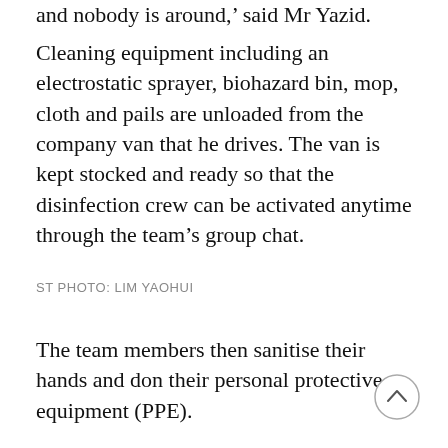and nobody is around,' said Mr Yazid.
Cleaning equipment including an electrostatic sprayer, biohazard bin, mop, cloth and pails are unloaded from the company van that he drives. The van is kept stocked and ready so that the disinfection crew can be activated anytime through the team's group chat.
ST PHOTO: LIM YAOHUI
The team members then sanitise their hands and don their personal protective equipment (PPE).